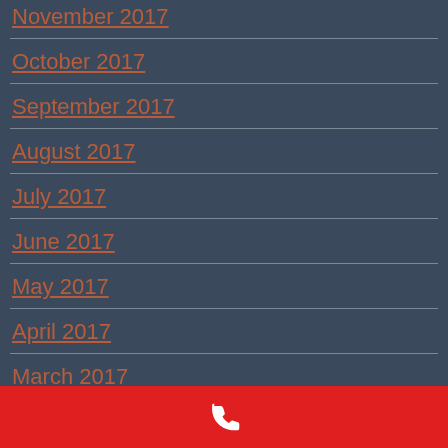November 2017
October 2017
September 2017
August 2017
July 2017
June 2017
May 2017
April 2017
March 2017
[Figure (illustration): White phone handset icon on red background bar at bottom of page]